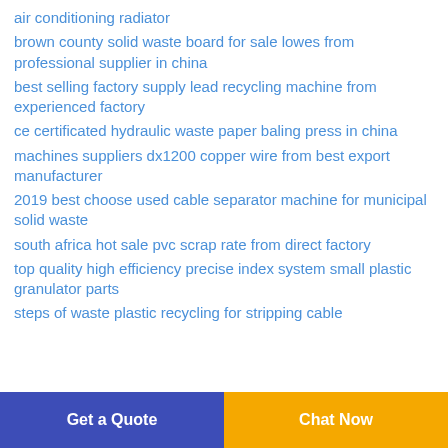air conditioning radiator
brown county solid waste board for sale lowes from professional supplier in china
best selling factory supply lead recycling machine from experienced factory
ce certificated hydraulic waste paper baling press in china
machines suppliers dx1200 copper wire from best export manufacturer
2019 best choose used cable separator machine for municipal solid waste
south africa hot sale pvc scrap rate from direct factory
top quality high efficiency precise index system small plastic granulator parts
steps of waste plastic recycling for stripping cable
Get a Quote  Chat Now